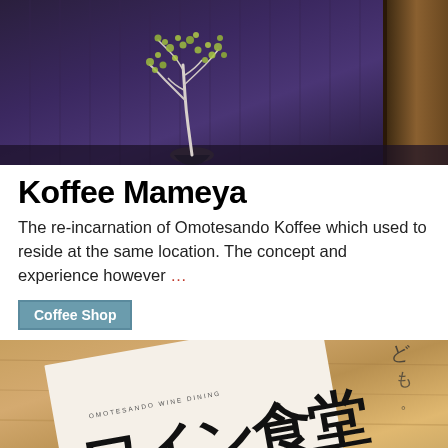[Figure (photo): Photo of a minimalist Japanese coffee shop entrance. A small bonsai-like tree with delicate branches and yellow-green leaves is displayed against a dark purple/indigo wooden wall. A warm glowing light source is visible above the tree. On the right side, a wooden door is partially visible.]
Koffee Mameya
The re-incarnation of Omotesando Koffee which used to reside at the same location. The concept and experience however …
Coffee Shop
[Figure (photo): Photo of a Japanese wine dining menu or brochure resting on a wooden surface. The menu shows Japanese calligraphy characters in black ink, with 'OMOTESANDO WINE DINING' printed in small English text. The calligraphy appears to read something related to wine dining in Japanese.]